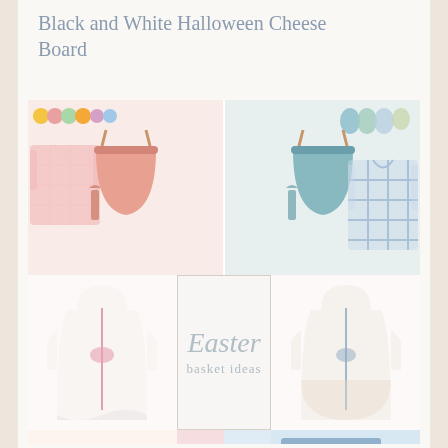Black and White Halloween Cheese Board
[Figure (photo): Collage of Easter basket ideas for kids: pink and blue pastel sand buckets with tools, gingham pajamas, monogrammed hooded robes, floral pajamas, pink and blue baseball hats, blue seersucker shorts, with central 'Easter basket ideas' text overlay]